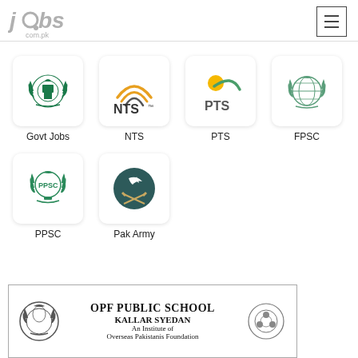[Figure (logo): jobs.com.pk logo in grey]
[Figure (screenshot): Hamburger menu button icon]
[Figure (logo): Govt Jobs - Government emblem icon]
Govt Jobs
[Figure (logo): NTS logo with orange arcs]
NTS
[Figure (logo): PTS logo with sun and swoosh]
PTS
[Figure (logo): FPSC government emblem]
FPSC
[Figure (logo): PPSC logo with crescent]
PPSC
[Figure (logo): Pak Army logo - dark teal circle with crescent and swords]
Pak Army
[Figure (screenshot): OPF Public School Kallar Syedan advertisement banner - An Institute of Overseas Pakistanis Foundation]